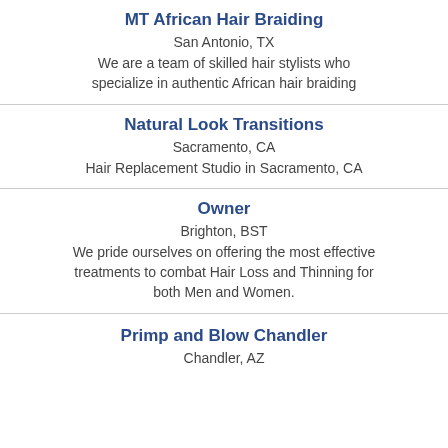MT African Hair Braiding
San Antonio, TX
We are a team of skilled hair stylists who specialize in authentic African hair braiding
Natural Look Transitions
Sacramento, CA
Hair Replacement Studio in Sacramento, CA
Owner
Brighton, BST
We pride ourselves on offering the most effective treatments to combat Hair Loss and Thinning for both Men and Women.
Primp and Blow Chandler
Chandler, AZ